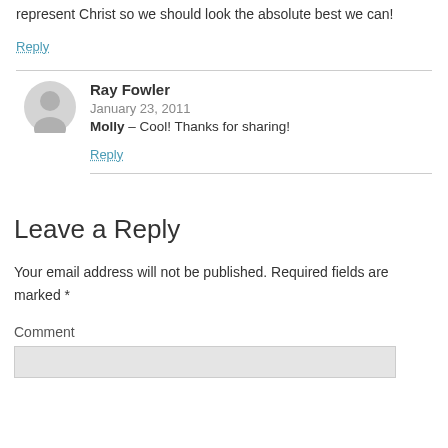represent Christ so we should look the absolute best we can!
Reply
Ray Fowler
January 23, 2011
Molly – Cool! Thanks for sharing!
Reply
Leave a Reply
Your email address will not be published. Required fields are marked *
Comment